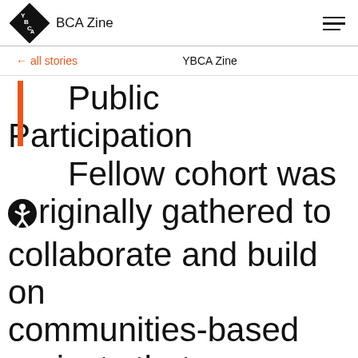YBCA Zine
← all stories    YBCA Zine
Public Participation Fellow cohort was originally gathered to collaborate and build on communities-based projects that demonstrated the mobilizing of public